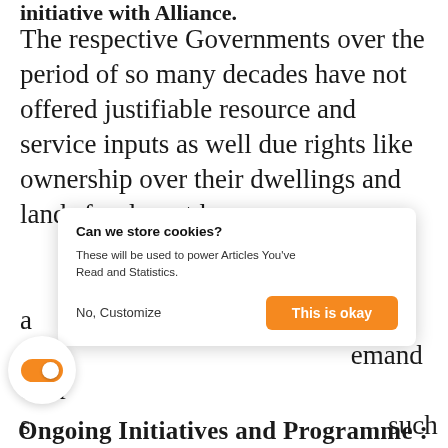The respective Governments over the period of so many decades have not offered justifiable resource and service inputs as well due rights like ownership over their dwellings and lands for decent living, medias and such demand over such values for their family members is the base to demand for neo community platform.
[Figure (other): Cookie consent popup overlay with title 'Can we store cookies?', description 'These will be used to power Articles You've Read and Statistics.', and two buttons: 'No, Customize' and 'This is okay' (orange). Also a circular toggle switch button in the bottom-left corner with an orange toggle.]
Ongoing Initiatives and Programme :